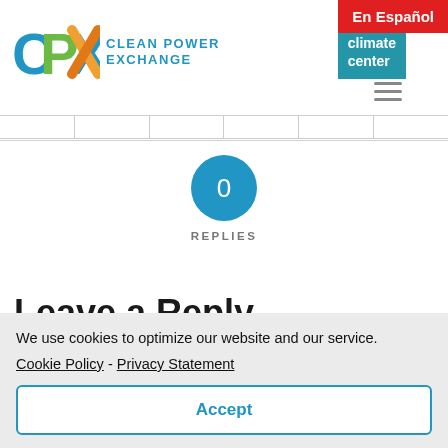CPX CLEAN POWER EXCHANGE | the climate center | En Español
0
REPLIES
Leave a Reply
We use cookies to optimize our website and our service.
Cookie Policy  -  Privacy Statement
Accept